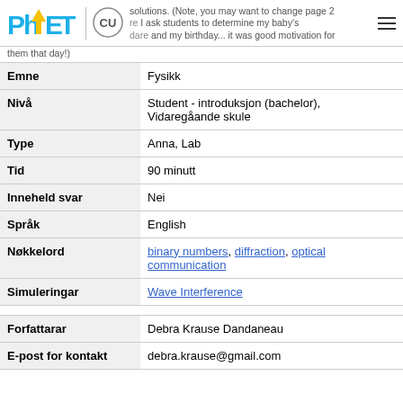PhET logo | CU logo | solutions. (Note, you may want to change page 2 before I ask students to determine my baby's dare and my birthday... it was good motivation for them that day!)
| Field | Value |
| --- | --- |
| Emne | Fysikk |
| Nivå | Student - introduksjon (bachelor), Vidaregåande skule |
| Type | Anna, Lab |
| Tid | 90 minutt |
| Inneheld svar | Nei |
| Språk | English |
| Nøkkelord | binary numbers, diffraction, optical communication |
| Simuleringar | Wave Interference |
| Field | Value |
| --- | --- |
| Forfattarar | Debra Krause Dandaneau |
| E-post for kontakt | debra.krause@gmail.com |